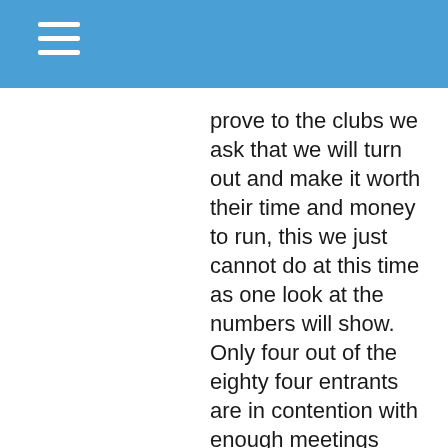prove to the clubs we ask that we will turn out and make it worth their time and money to run, this we just cannot do at this time as one look at the numbers will show. Only four out of the eighty four entrants are in contention with enough meetings done!!! I would say that the costs for traveling are becoming out of reach for some people and this maybe one of the reasons the numbers